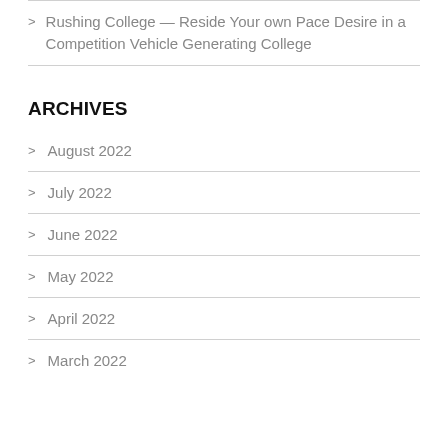Rushing College — Reside Your own Pace Desire in a Competition Vehicle Generating College
ARCHIVES
August 2022
July 2022
June 2022
May 2022
April 2022
March 2022